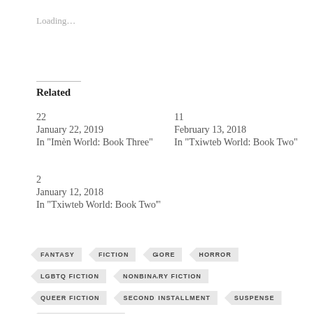Loading…
Related
22
January 22, 2019
In "Imèn World: Book Three"
11
February 13, 2018
In "Txiwteb World: Book Two"
2
January 12, 2018
In "Txiwteb World: Book Two"
FANTASY
FICTION
GORE
HORROR
LGBTQ FICTION
NONBINARY FICTION
QUEER FICTION
SECOND INSTALLMENT
SUSPENSE
THE SEVEN WORLDS